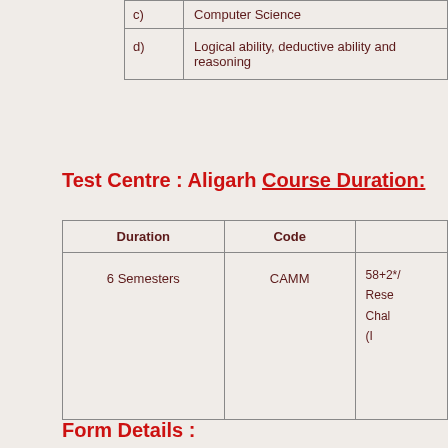| c) | Computer Science |
| d) | Logical ability, deductive ability and reasoning |
Test Centre : Aligarh Course Duration:
| Duration | Code |  |
| --- | --- | --- |
| 6 Semesters | CAMM | 58+2*/
Reser
Chal
(I |
Form Details :